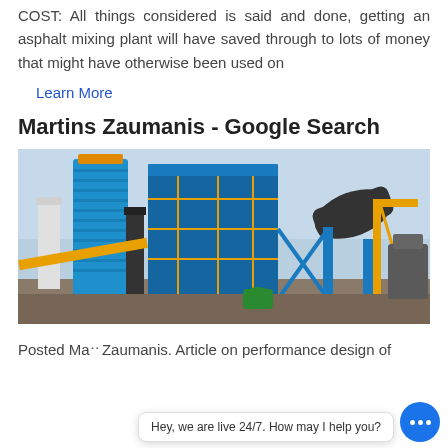COST: All things considered is said and done, getting an asphalt mixing plant will have saved through to lots of money that might have otherwise been used on
Learn More
Martins Zaumanis - Google Search
[Figure (photo): Industrial asphalt mixing plant with blue cylindrical silo tower, blue steel framework structure, conveyor belt, and industrial machinery on a construction site.]
Posted Ma... Zaumanis. Article on performance design of